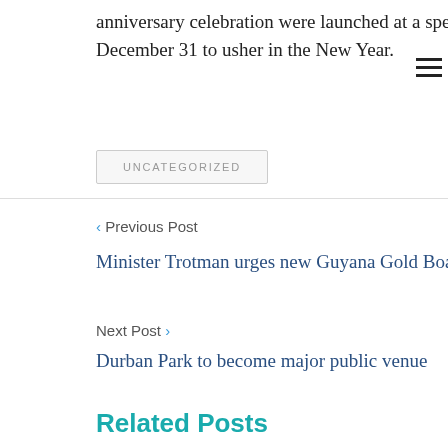anniversary celebration were launched at a spectacular programme held at the Independence Arch on December 31 to usher in the New Year.
UNCATEGORIZED
< Previous Post
Minister Trotman urges new Guyana Gold Board to tackle smuggling, boost declarations
Next Post >
Durban Park to become major public venue
Related Posts